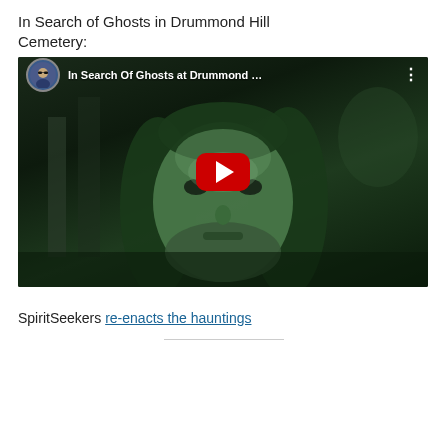In Search of Ghosts in Drummond Hill Cemetery:
[Figure (screenshot): YouTube video thumbnail showing a man's face illuminated in night-vision green. The video title reads 'In Search Of Ghosts at Drummond ...' with a YouTube play button in the center and a circular avatar in the top-left corner.]
SpiritSeekers re-enacts the hauntings